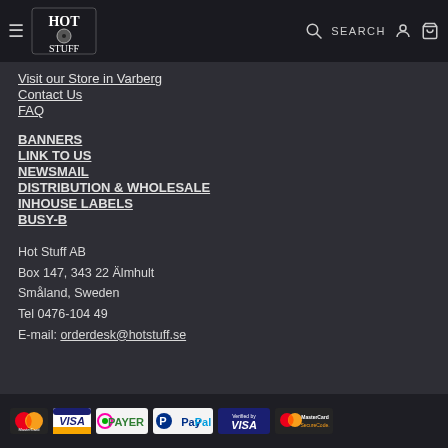Hot Stuff — SEARCH (navigation bar with logo, search, account, cart)
Visit our Store in Varberg
Contact Us
FAQ
BANNERS
LINK TO US
NEWSMAIL
DISTRIBUTION & WHOLESALE
INHOUSE LABELS
BUSY-B
Hot Stuff AB
Box 147, 343 22 Älmhult
Småland, Sweden
Tel 0476-104 49
E-mail: orderdesk@hotstuff.se
[Figure (logo): Payment method logos: MasterCard, VISA, PAYER, PayPal, Verified by VISA, MasterCard SecureCode]